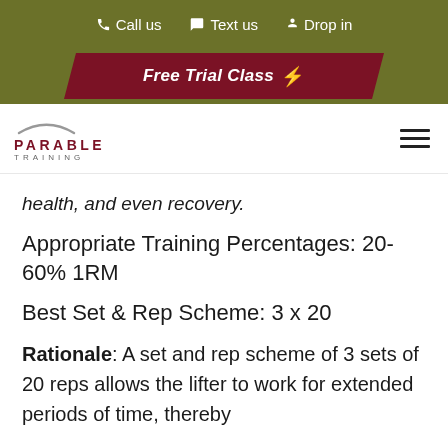Call us  Text us  Drop in
Free Trial Class ⚡
[Figure (logo): Parable Training logo with arc graphic above stylized text]
health, and even recovery.
Appropriate Training Percentages: 20-60% 1RM
Best Set & Rep Scheme: 3 x 20
Rationale: A set and rep scheme of 3 sets of 20 reps allows the lifter to work for extended periods of time, thereby